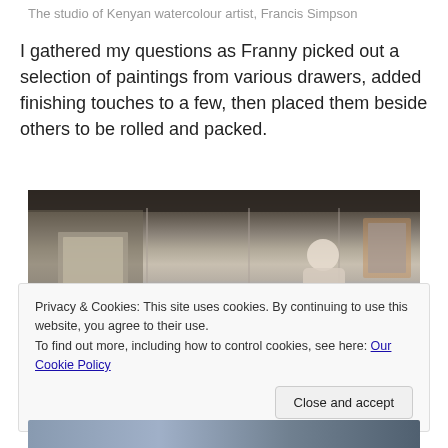The studio of Kenyan watercolour artist, Francis Simpson
I gathered my questions as Franny picked out a selection of paintings from various drawers, added finishing touches to a few, then placed them beside others to be rolled and packed.
[Figure (photo): An artist (Franny/Francis Simpson) working in her studio, bending over a table with watercolour paintings spread out. Canvases and paintings lean against walls and storage units in a dimly lit studio interior.]
Privacy & Cookies: This site uses cookies. By continuing to use this website, you agree to their use.
To find out more, including how to control cookies, see here: Our Cookie Policy
Close and accept